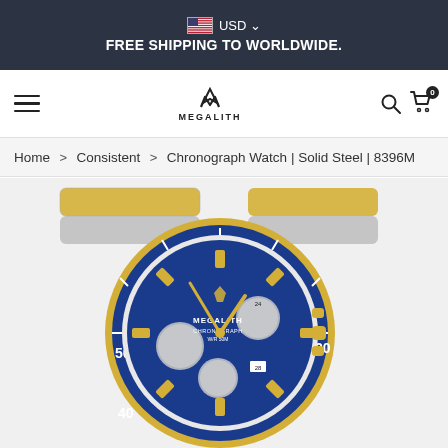USD | FREE SHIPPING TO WORLDWIDE.
[Figure (logo): Megalith brand logo with M icon and MEGALITH text]
Home > Consistent > Chronograph Watch | Solid Steel | 8396M
[Figure (photo): Megalith Chronograph Watch with blue dial, gold and silver stainless steel bracelet, model 8396M. Blue rotating bezel with white hour markers, three sub-dials, MEGALITH CHRONOGRAPH W/R 50M text on dial.]